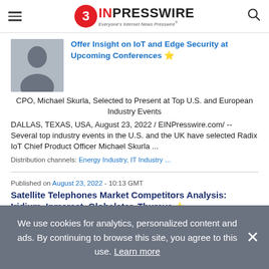EINPresswire — Everyone's Internet News Presswire
Offer Insight on IoT and Edge Security at Upcoming Conferences
CPO, Michael Skurla, Selected to Present at Top U.S. and European Industry Events
DALLAS, TEXAS, USA, August 23, 2022 / EINPresswire.com/ -- Several top industry events in the U.S. and the UK have selected Radix IoT Chief Product Officer Michael Skurla ...
Distribution channels: Energy Industry, IT Industry ...
Published on August 23, 2022 - 10:13 GMT
Satellite Telephones Market Competitors Analysis: Iridium, Inmarsat, Globalstar, Thuraya
We use cookies for analytics, personalized content and ads. By continuing to browse this site, you agree to this use. Learn more